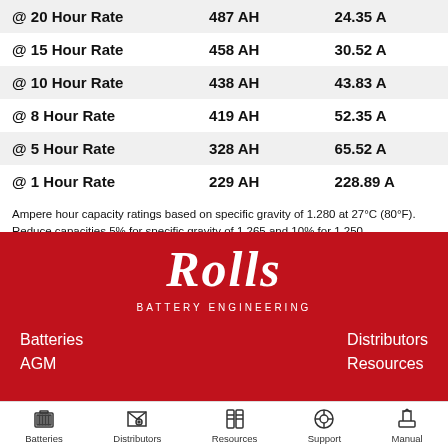| Rate | AH | Current |
| --- | --- | --- |
| @ 20 Hour Rate | 487 AH | 24.35 A |
| @ 15 Hour Rate | 458 AH | 30.52 A |
| @ 10 Hour Rate | 438 AH | 43.83 A |
| @ 8 Hour Rate | 419 AH | 52.35 A |
| @ 5 Hour Rate | 328 AH | 65.52 A |
| @ 1 Hour Rate | 229 AH | 228.89 A |
Ampere hour capacity ratings based on specific gravity of 1.280 at 27°C (80°F).
Reduce capacities 5% for specific gravity of 1.265 and 10% for 1.250.
[Figure (logo): Rolls Battery Engineering logo — italic script 'Rolls' in white on red background with 'BATTERY ENGINEERING' underneath in small caps]
Batteries
AGM
Distributors
Resources
Batteries | Distributors | Resources | Support | Manual